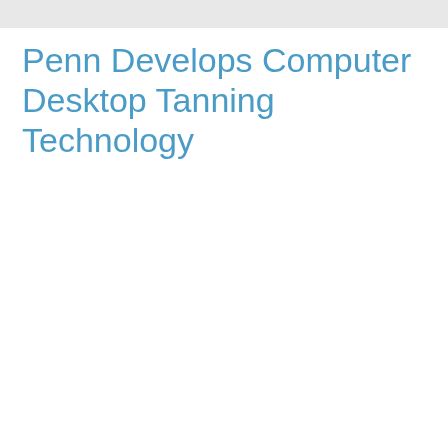Penn Develops Computer Desktop Tanning Technology